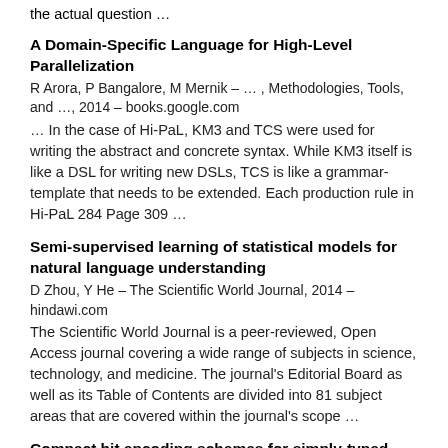the actual question …
A Domain-Specific Language for High-Level Parallelization
R Arora, P Bangalore, M Mernik – … , Methodologies, Tools, and …, 2014 – books.google.com
… In the case of Hi-PaL, KM3 and TCS were used for writing the abstract and concrete syntax. While KM3 itself is like a DSL for writing new DSLs, TCS is like a grammar-template that needs to be extended. Each production rule in Hi-PaL 284 Page 309 …
Semi-supervised learning of statistical models for natural language understanding
D Zhou, Y He – The Scientific World Journal, 2014 – hindawi.com
The Scientific World Journal is a peer-reviewed, Open Access journal covering a wide range of subjects in science, technology, and medicine. The journal's Editorial Board as well as its Table of Contents are divided into 81 subject areas that are covered within the journal's scope …
Compact bit encoding schemes for simply-typed lambda-terms